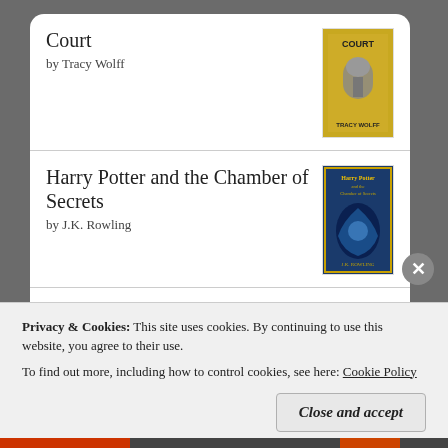Court
by Tracy Wolff
Harry Potter and the Chamber of Secrets
by J.K. Rowling
Harry Potter and the Sorcerer's Stone
by J.K. Rowling
[Figure (logo): goodreads logo button with rounded rectangle border]
Privacy & Cookies: This site uses cookies. By continuing to use this website, you agree to their use.
To find out more, including how to control cookies, see here: Cookie Policy
Close and accept